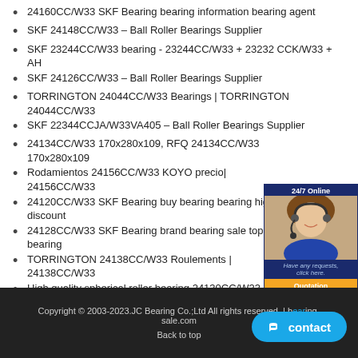24160CC/W33 SKF Bearing bearing information bearing agent
SKF 24148CC/W33 – Ball Roller Bearings Supplier
SKF 23244CC/W33 bearing - 23244CC/W33 + 23232 CCK/W33 + AH
SKF 24126CC/W33 – Ball Roller Bearings Supplier
TORRINGTON 24044CC/W33 Bearings | TORRINGTON 24044CC/W33
SKF 22344CCJA/W33VA405 – Ball Roller Bearings Supplier
24134CC/W33 170x280x109, RFQ 24134CC/W33 170x280x109
Rodamientos 24156CC/W33 KOYO precio| 24156CC/W33
24120CC/W33 SKF Bearing buy bearing bearing high discount
24128CC/W33 SKF Bearing brand bearing sale top bearing
TORRINGTON 24138CC/W33 Roulements | 24138CC/W33
High quality spherical roller bearing 24130CC/W33 - Buy
*24124CC/W33 | ZWZ *24124CC/W33Bearing | bearing
24140CC/W33 SKF Bearing bearing specialist professional bearing supplier
FAG 23044CC/W33 bearing_SKF bearing_NSK bearing_FAG
[Figure (illustration): 24/7 Online customer service agent photo with sidebar showing quotation button]
Copyright © 2003-2023.JC Bearing Co.;Ltd All rights reserved. | bearing-sale.com
Back to top